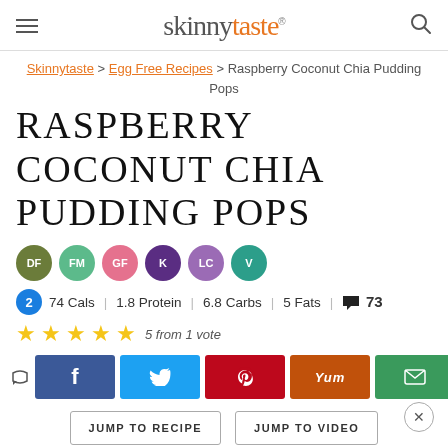skinnytaste
Skinnytaste > Egg Free Recipes > Raspberry Coconut Chia Pudding Pops
RASPBERRY COCONUT CHIA PUDDING POPS
DF FM GF K LC V
2  74 Cals | 1.8 Protein | 6.8 Carbs | 5 Fats  💬 73
5 from 1 vote
996 SHARES
JUMP TO RECIPE   JUMP TO VIDEO
This post may contain affiliate links. Read my disclosure policy.
Raspberry coconut chia pudding, in a popsicle!